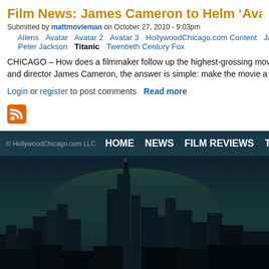Film News: James Cameron to Helm ‘Avatar 2,’ ‘Av...
Submitted by mattmovieman on October 27, 2010 - 9:03pm
Aliens  Avatar  Avatar 2  Avatar 3  HollywoodChicago.com Content  James Ca...  Peter Jackson  Titanic  Twentieth Century Fox
CHICAGO – How does a filmmaker follow up the highest-grossing movie of al... and director James Cameron, the answer is simple: make the movie a trilogy...
Login or register to post comments    Read more
[Figure (logo): RSS feed orange square icon]
© HollywoodChicago.com LLC  HOME  NEWS  FILM REVIEWS  TV  BLU-RAY
[Figure (illustration): Chicago night skyline silhouette with dark teal/navy background and city buildings]